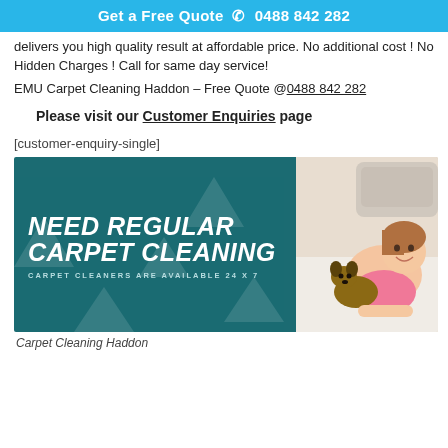Get a Free Quote  ☎ 0488 842 282
delivers you high quality result at affordable price. No additional cost ! No Hidden Charges ! Call for same day service!
EMU Carpet Cleaning Haddon – Free Quote @0488 842 282
Please visit our Customer Enquiries page
[customer-enquiry-single]
[Figure (photo): Promotional image for carpet cleaning service split into two halves: left side dark teal background with bold italic white text 'NEED REGULAR CARPET CLEANING' and subtext 'CARPET CLEANERS ARE AVAILABLE 24 X 7'; right side photo of a smiling girl lying on a white carpet next to a small Yorkshire Terrier dog.]
Carpet Cleaning Haddon